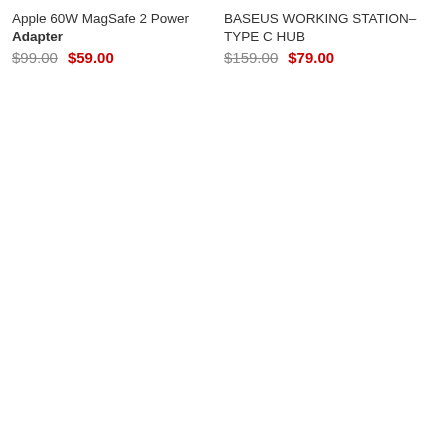Apple 60W MagSafe 2 Power Adapter
$99.00  $59.00
BASEUS WORKING STATION- TYPE C HUB
$159.00  $79.00